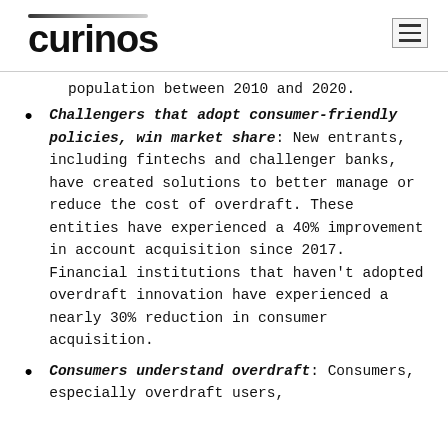curinos
population between 2010 and 2020.
Challengers that adopt consumer-friendly policies, win market share: New entrants, including fintechs and challenger banks, have created solutions to better manage or reduce the cost of overdraft. These entities have experienced a 40% improvement in account acquisition since 2017. Financial institutions that haven't adopted overdraft innovation have experienced a nearly 30% reduction in consumer acquisition.
Consumers understand overdraft: Consumers, especially overdraft users,